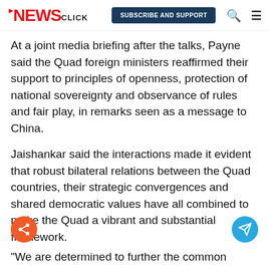NEWSclick | SUBSCRIBE AND SUPPORT
At a joint media briefing after the talks, Payne said the Quad foreign ministers reaffirmed their support to principles of openness, protection of national sovereignty and observance of rules and fair play, in remarks seen as a message to China.
Jaishankar said the interactions made it evident that robust bilateral relations between the Quad countries, their strategic convergences and shared democratic values have all combined to make the Quad a vibrant and substantial framework.
"We are building an agenda which seeks to further our shared vision of a free, open and inclusive Indo-Pacific," Jaishankar said.
"We are determined to further the common